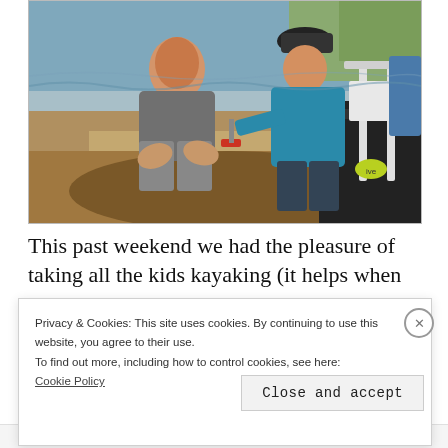[Figure (photo): Two boys playing in mud and sand near a lake shore. One older boy in grey shirt kneeling, one younger boy in teal/blue hoodie with cap holding a red shovel. A folding chair and black tarp visible on the right. Water and vegetation in background.]
This past weekend we had the pleasure of taking all the kids kayaking (it helps when
Privacy & Cookies: This site uses cookies. By continuing to use this website, you agree to their use.
To find out more, including how to control cookies, see here:
Cookie Policy
Close and accept